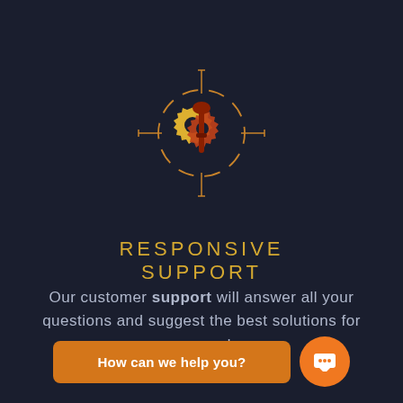[Figure (illustration): Circular crosshair/target icon containing a gear/cog with a screwdriver or key tool, rendered in yellow-orange and dark red tones on a dark navy background. The gear has a central keyhole or tool shape. Thin orange lines extend from the circle like crosshairs.]
RESPONSIVE SUPPORT
Our customer support will answer all your questions and suggest the best solutions for your needs.